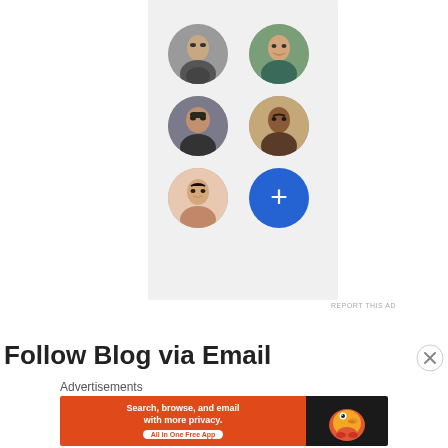[Figure (illustration): Ad panel with a grid of 5 circular avatar photos (person faces) and one blue circle with a plus sign, arranged in a 2-column grid on a light gray background]
REPORT THIS AD
Follow Blog via Email
Advertisements
[Figure (screenshot): DuckDuckGo advertisement banner with orange background. Left side text: 'Search, browse, and email with more privacy. All in One Free App'. Right side shows DuckDuckGo duck logo on dark background.]